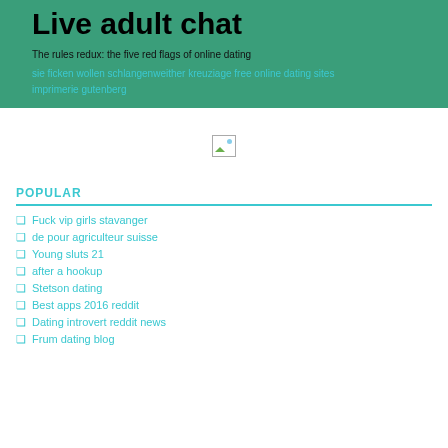Live adult chat
The rules redux: the five red flags of online dating
sie ficken wollen schlangenweither kreuziage free online dating sites imprimerie gutenberg
[Figure (photo): Small broken/placeholder image icon]
POPULAR
Fuck vip girls stavanger
de pour agriculteur suisse
Young sluts 21
after a hookup
Stetson dating
Best apps 2016 reddit
Dating introvert reddit news
Frum dating blog